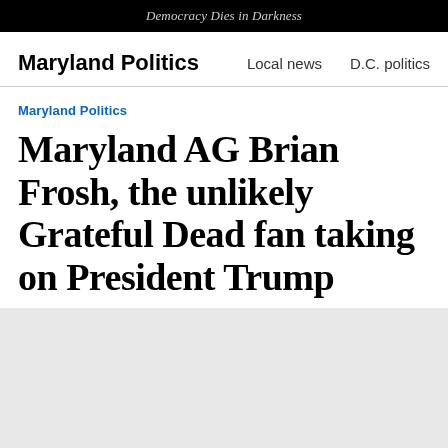Democracy Dies in Darkness
Maryland Politics    Local news    D.C. politics
Maryland Politics
Maryland AG Brian Frosh, the unlikely Grateful Dead fan taking on President Trump